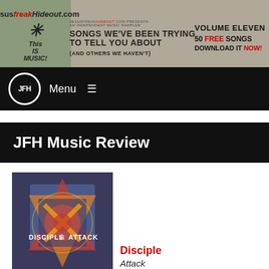[Figure (screenshot): JesusFreakHideout.com banner advertisement for Volume Eleven music sampler: '50 Free Songs Download It Now' - Songs We've Been Trying To Tell You About (And Others We Haven't)]
JFH Menu ≡
JFH Music Review
[Figure (photo): Album cover for Disciple - Attack, showing a burning heraldic shield with the text DISCIPLE ATTACK]
CLICK COVER TO ENLARGE
Disciple
Attack